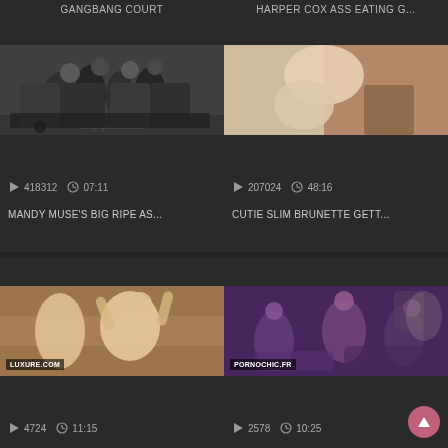GANGBANG COURT
HARPER COX ASS EATING G...
[Figure (photo): Video thumbnail showing group scene in gym setting]
[Figure (photo): Video thumbnail showing solo adult content scene]
418312  07:11
207024  48:16
MANDY MUSE'S BIG RIPE AS...
CUTIE SLIM BRUNETTE GETT...
[Figure (photo): Video thumbnail with watermark LUXURE.COM, blonde performer]
[Figure (photo): Video thumbnail with watermark PORNOCHIC.FR, group scene]
4724  11:15
2578  10:25